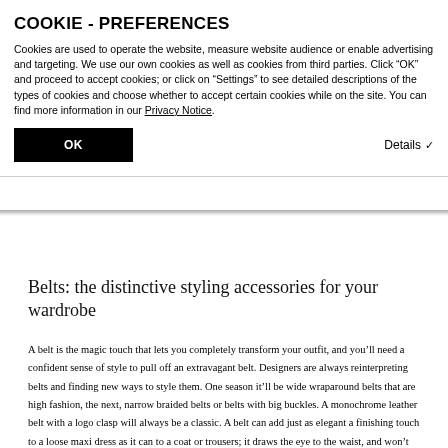COOKIE - PREFERENCES
Cookies are used to operate the website, measure website audience or enable advertising and targeting. We use our own cookies as well as cookies from third parties. Click “OK” and proceed to accept cookies; or click on “Settings” to see detailed descriptions of the types of cookies and choose whether to accept certain cookies while on the site. You can find more information in our Privacy Notice.
OK
Details
Belts: the distinctive styling accessories for your wardrobe
A belt is the magic touch that lets you completely transform your outfit, and you’ll need a confident sense of style to pull off an extravagant belt. Designers are always reinterpreting belts and finding new ways to style them. One season it’ll be wide wraparound belts that are high fashion, the next, narrow braided belts or belts with big buckles. A monochrome leather belt with a logo clasp will always be a classic. A belt can add just as elegant a finishing touch to a loose maxi dress as it can to a coat or trousers; it draws the eye to the waist, and won’t fail to